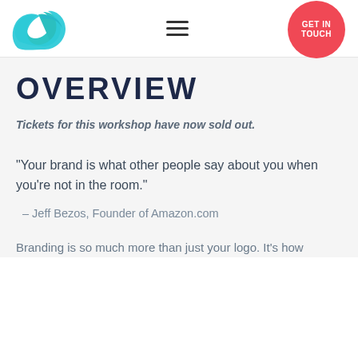[Figure (logo): Stylized teal leaf/sprout logo with S-curve shape]
[Figure (other): Hamburger menu icon (three horizontal lines)]
[Figure (other): Red circular button with text GET IN TOUCH]
OVERVIEW
Tickets for this workshop have now sold out.
“Your brand is what other people say about you when you’re not in the room.”
–  Jeff Bezos, Founder of Amazon.com
Branding is so much more than just your logo. It’s how